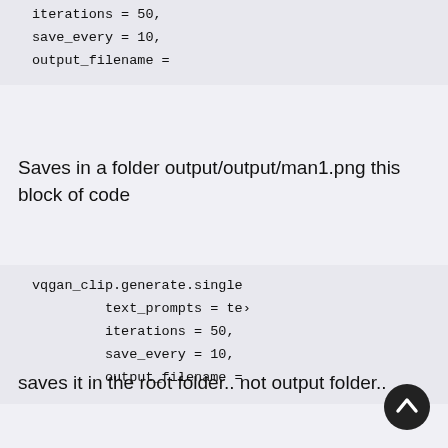iterations = 50,
save_every = 10,
output_filename =
Saves in a folder output/output/man1.png this block of code
vqgan_clip.generate.single(
    text_prompts = te>
    iterations = 50,
    save_every = 10,
    output_filename =
saves it in the root folder.. not output folder..